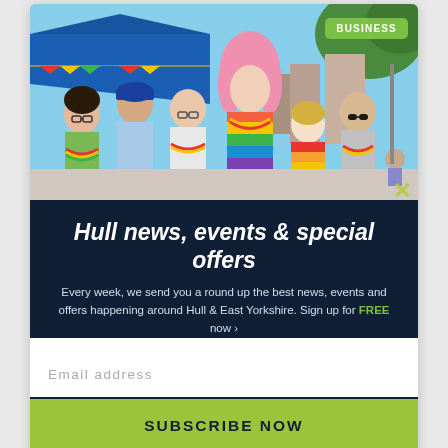[Figure (photo): Group of six people at an outdoor Pride event on a sunny day. One person in the center wears a pink wig and a rainbow dress. Others wear colorful leis and rainbow accessories. A blue tent/awning is visible in the background along with a street scene. A green 'BUSINESS' badge appears in the top right corner of the image.]
Hull news, events & special offers
Every week, we send you a round up the best news, events and offers happening around Hull & East Yorkshire. Sign up for FREE now >
Email address
SUBSCRIBE NOW